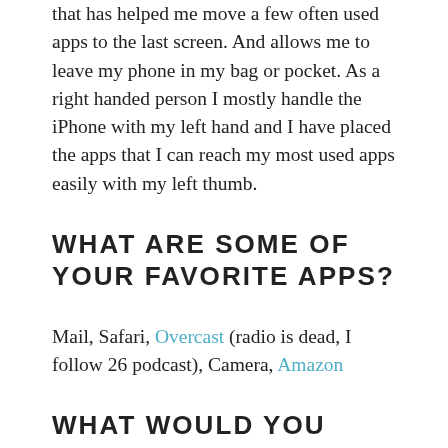that has helped me move a few often used apps to the last screen. And allows me to leave my phone in my bag or pocket. As a right handed person I mostly handle the iPhone with my left hand and I have placed the apps that I can reach my most used apps easily with my left thumb.
WHAT ARE SOME OF YOUR FAVORITE APPS?
Mail, Safari, Overcast (radio is dead, I follow 26 podcast), Camera, Amazon
WHAT WOULD YOU LIKE TO SEE IMPROVED ON THE IPHONE?
I speak a various languages and wish that the keyboard language would change automatically to the language for the person in the notification or the language of the